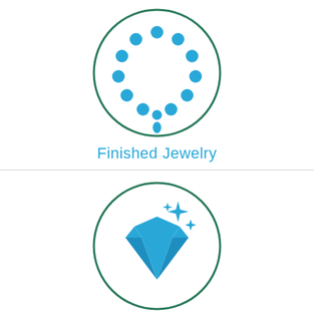[Figure (illustration): Circle icon with teal/dark green border containing a blue bracelet/necklace jewelry icon]
Finished Jewelry
[Figure (illustration): Circle icon with teal/dark green border containing a blue gemstone/diamond with sparkle stars icon]
Gem Stones
[Figure (illustration): Circle icon with teal/dark green border containing a blue magic wand with sparkles icon (partially visible)]